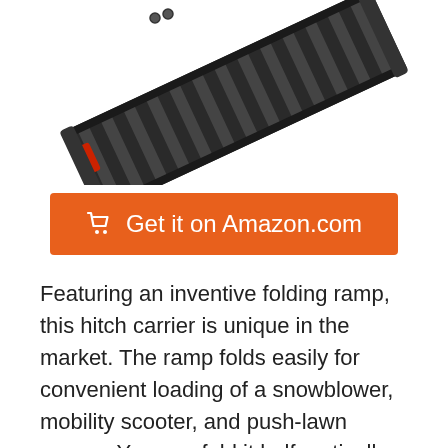[Figure (photo): A black folding hitch carrier ramp for motorcycles/scooters/snowblowers, shown at an angle with a red reflector, positioned diagonally from upper-left to lower-right against a white background.]
🛒 Get it on Amazon.com
Featuring an inventive folding ramp, this hitch carrier is unique in the market. The ramp folds easily for convenient loading of a snowblower, mobility scooter, and push-lawn mower. You can fold it half vertically for simple